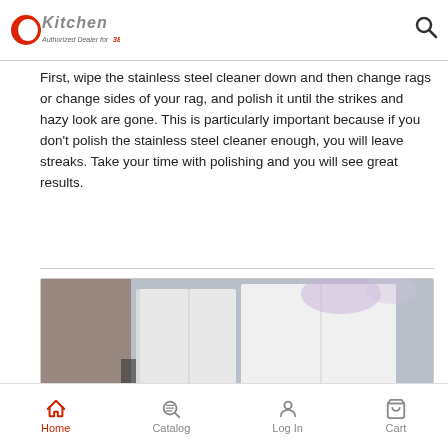CKitchen Authorized Dealer for 38 Years
First, wipe the stainless steel cleaner down and then change rags or change sides of your rag, and polish it until the strikes and hazy look are gone. This is particularly important because if you don't polish the stainless steel cleaner enough, you will leave streaks. Take your time with polishing and you will see great results.
[Figure (photo): Photo showing what appears to be white kitchen appliance panels or refrigerator doors, blurred background with light fixtures]
Home | Catalog | Log In | Cart